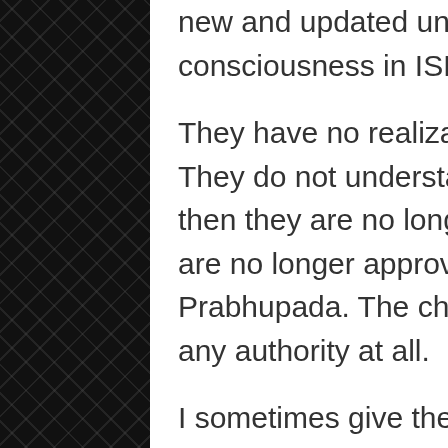new and updated understanding of Krishna consciousness in ISKCON… They have no realization of the point you are making. They do not understand if they change the books then they are no longer Prabhupada's books, they are no longer approved of an authorized by Srila Prabhupada. The changed books no longer carry any authority at all. I sometimes give the example that if Jayadvaita got the US Constitution and made thousands and thousands of changes to it and, in his opinion, improved it. Then if he tried to get the US people and government to get them to